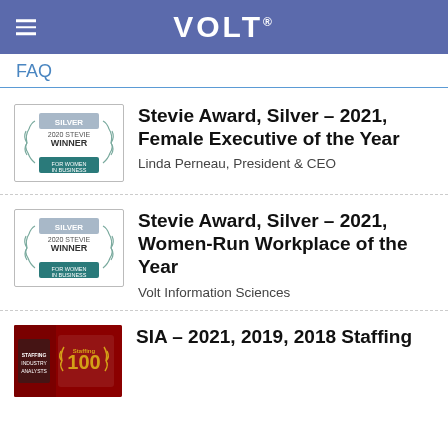VOLT
FAQ
[Figure (logo): Silver 2020 Stevie Winner For Women In Business badge]
Stevie Award, Silver – 2021, Female Executive of the Year
Linda Perneau, President & CEO
[Figure (logo): Silver 2020 Stevie Winner For Women In Business badge]
Stevie Award, Silver – 2021, Women-Run Workplace of the Year
Volt Information Sciences
[Figure (logo): Staffing 100 award badge with red background]
SIA – 2021, 2019, 2018 Staffing